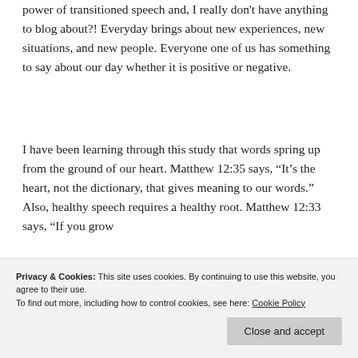power of transitioned speech and, I really don't have anything to blog about?! Everyday brings about new experiences, new situations, and new people. Everyone one of us has something to say about our day whether it is positive or negative.
I have been learning through this study that words spring up from the ground of our heart. Matthew 12:35 says, “It’s the heart, not the dictionary, that gives meaning to our words.” Also, healthy speech requires a healthy root. Matthew 12:33 says, “If you grow a healthy tree, you’ll pick healthy fruit; if you grow a diseased tree, you’ll pick worm-eaten fruit. The fruit tells you about the tree.”
and doceit? Bad soil can result from
Privacy & Cookies: This site uses cookies. By continuing to use this website, you agree to their use.
To find out more, including how to control cookies, see here: Cookie Policy